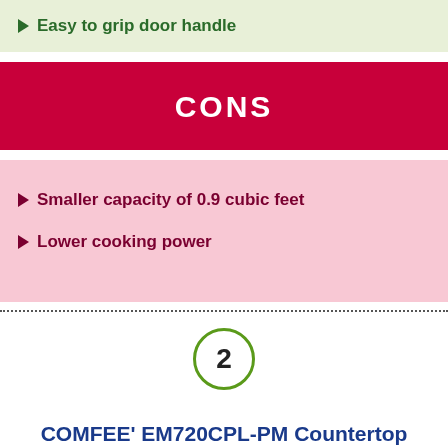Easy to grip door handle
CONS
Smaller capacity of 0.9 cubic feet
Lower cooking power
2
COMFEE' EM720CPL-PM Countertop